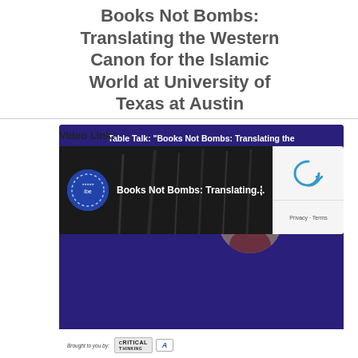Books Not Bombs: Translating the Western Canon for the Islamic World at University of Texas at Austin
[Figure (infographic): Event banner for Table Talk: 'Books Not Bombs: Translating the Western Canon for the Islamic World' featuring Faisal Al-Mutar, Counter Extremism expert and Founder of Ideas Beyond Borders. Sep 12, 6:00 PM - 08:00 PM, The Clay Pit, 1601 Guadalupe St, Austin, TX 78701. Brought to you by Critical Thinking and another organization logo.]
Video Link:
[Figure (screenshot): YouTube video thumbnail showing 'Books Not Bombs: Translating...' with a reCAPTCHA widget on the right side showing Privacy - Terms.]